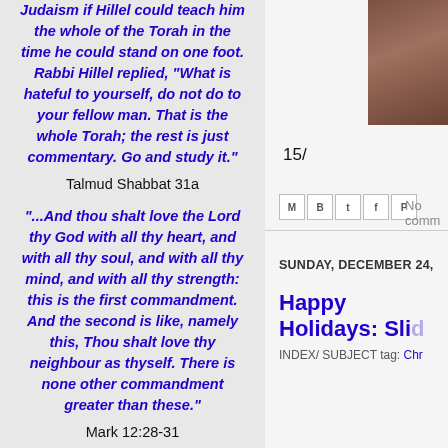Judaism if Hillel could teach him the whole of the Torah in the time he could stand on one foot. Rabbi Hillel replied, "What is hateful to yourself, do not do to your fellow man. That is the whole Torah; the rest is just commentary. Go and study it."
Talmud Shabbat 31a
"...And thou shalt love the Lord thy God with all thy heart, and with all thy soul, and with all thy mind, and with all thy strength: this is the first commandment. And the second is like, namely this, Thou shalt love thy neighbour as thyself. There is none other commandment greater than these."
Mark 12:28-31
[Figure (photo): Partial photo visible in upper right corner, appears to be a dark brown/earth-toned outdoor scene]
15/
No comm
SUNDAY, DECEMBER 24,
Happy Holidays: Sli
INDEX/ SUBJECT tag: Chr